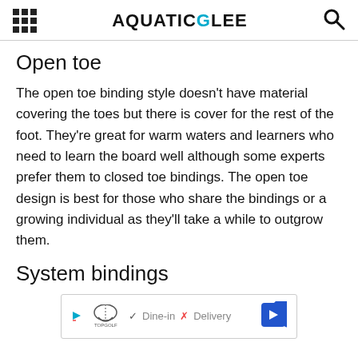AQUATICGLEE
Open toe
The open toe binding style doesn't have material covering the toes but there is cover for the rest of the foot. They're great for warm waters and learners who need to learn the board well although some experts prefer them to closed toe bindings. The open toe design is best for those who share the bindings or a growing individual as they'll take a while to outgrow them.
System bindings
[Figure (other): Advertisement banner for TopGolf showing Dine-in and Delivery options with a blue arrow navigation button]